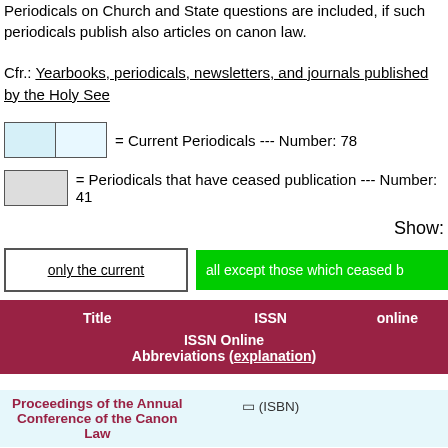Periodicals on Church and State questions are included, if such periodicals publish also articles on canon law.
Cfr.: Yearbooks, periodicals, newsletters, and journals published by the Holy See
= Current Periodicals --- Number: 78
= Periodicals that have ceased publication --- Number: 41
Show:
only the current
all except those which ceased b
| Title | ISSN | online |
| --- | --- | --- |
| Proceedings of the Annual Conference of the Canon Law | (ISBN) |  |
ISSN Online
Abbreviations (explanation)